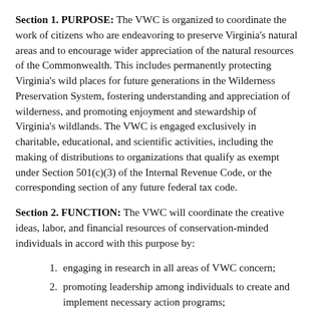Section 1.  PURPOSE:  The VWC is organized to coordinate the work of citizens who are endeavoring to preserve Virginia's natural areas and to encourage wider appreciation of the natural resources of the Commonwealth.  This includes permanently protecting Virginia's wild places for future generations in the Wilderness Preservation System, fostering understanding and appreciation of wilderness, and promoting enjoyment and stewardship of Virginia's wildlands.  The VWC is engaged exclusively in charitable, educational, and scientific activities, including the making of distributions to organizations that qualify as exempt under Section 501(c)(3) of the Internal Revenue Code, or the corresponding section of any future federal tax code.
Section 2.  FUNCTION:  The VWC will coordinate the creative ideas, labor, and financial resources of conservation-minded individuals in accord with this purpose by:
engaging in research in all areas of VWC concern;
promoting leadership among individuals to create and implement necessary action programs;